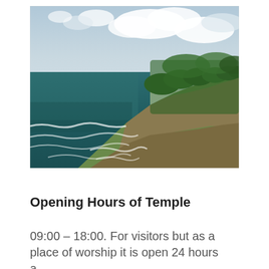[Figure (photo): Aerial/elevated view of dramatic coastal cliffs covered in lush green vegetation on the right, with dark teal ocean waves crashing against the base of the cliffs on the left, and a partly cloudy sky above.]
Opening Hours of Temple
09:00 – 18:00. For visitors but as a place of worship it is open 24 hours a